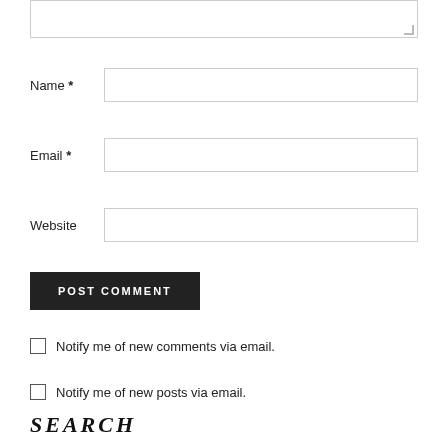[Figure (screenshot): Comment form UI with textarea (partially visible at top), Name, Email, Website input fields, POST COMMENT button, two notification checkboxes, and a SEARCH section header]
Name *
Email *
Website
POST COMMENT
Notify me of new comments via email.
Notify me of new posts via email.
SEARCH